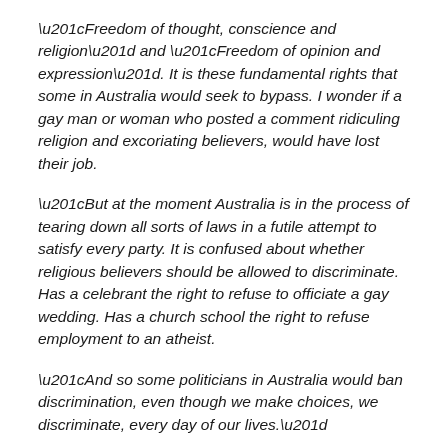“Freedom of thought, conscience and religion” and “Freedom of opinion and expression”. It is these fundamental rights that some in Australia would seek to bypass. I wonder if a gay man or woman who posted a comment ridiculing religion and excoriating believers, would have lost their job.
“But at the moment Australia is in the process of tearing down all sorts of laws in a futile attempt to satisfy every party. It is confused about whether religious believers should be allowed to discriminate. Has a celebrant the right to refuse to officiate a gay wedding. Has a church school the right to refuse employment to an atheist.
“And so some politicians in Australia would ban discrimination, even though we make choices, we discriminate, every day of our lives.”